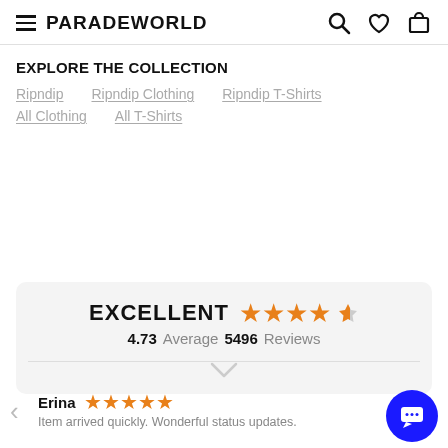PARADEWORLD
EXPLORE THE COLLECTION
Ripndip
Ripndip Clothing
Ripndip T-Shirts
All Clothing
All T-Shirts
[Figure (infographic): Rating panel showing EXCELLENT with 4.5 orange stars, 4.73 Average, 5496 Reviews]
Erina ★★★★★ Item arrived quickly. Wonderful status updates.